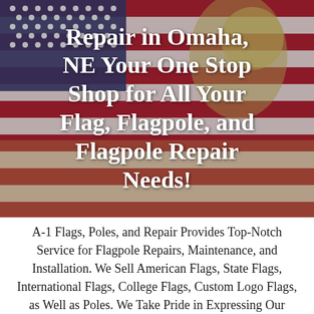[Figure (photo): American flag and bald eagle patriotic background image with white bold text overlay reading: 'Repair in Omaha, NE Your One Stop Shop for All Your Flag, Flagpole, and Flagpole Repair Needs!']
A-1 Flags, Poles, and Repair Provides Top-Notch Service for Flagpole Repairs, Maintenance, and Installation. We Sell American Flags, State Flags, International Flags, College Flags, Custom Logo Flags, as Well as Poles. We Take Pride in Expressing Our Sincere Admiration